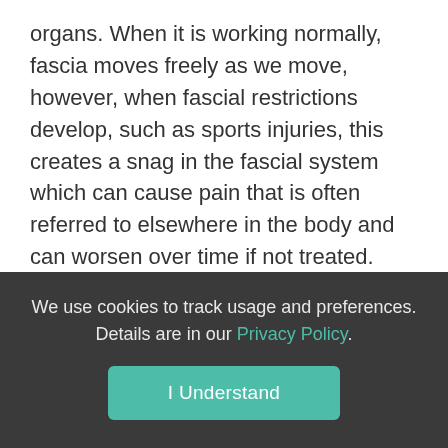organs. When it is working normally, fascia moves freely as we move, however, when fascial restrictions develop, such as sports injuries, this creates a snag in the fascial system which can cause pain that is often referred to elsewhere in the body and can worsen over time if not treated.
We therefore teach our clients fascial stretching which is much slower and more progressive than muscle stretches, and therefore has a more lasting benefit. If you would like a duration of at least 30-30...
We use cookies to track usage and preferences. Details are in our Privacy Policy.